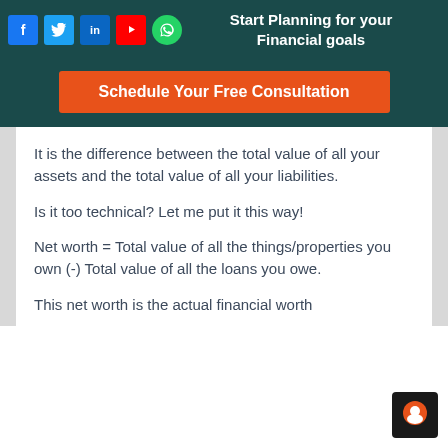[Figure (infographic): Social media icons: Facebook, Twitter, LinkedIn, YouTube, WhatsApp in a horizontal row on a dark teal header bar]
Start Planning for your Financial goals
Schedule Your Free Consultation
It is the difference between the total value of all your assets and the total value of all your liabilities.
Is it too technical? Let me put it this way!
Net worth = Total value of all the things/properties you own (-) Total value of all the loans you owe.
This net worth is the actual financial worth